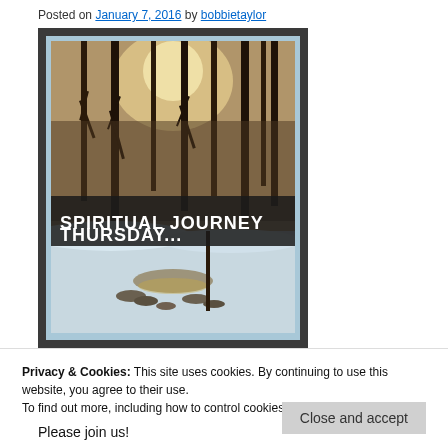Posted on January 7, 2016 by bobbietaylor
[Figure (photo): Winter woodland scene with bare trees, snow-covered ground and a stream, with bold white text overlaid reading 'SPIRITUAL JOURNEY THURSDAY...' Framed with dark outer border and light blue inner border.]
Privacy & Cookies: This site uses cookies. By continuing to use this website, you agree to their use.
To find out more, including how to control cookies, see here: Cookie Policy
Close and accept
Please join us!